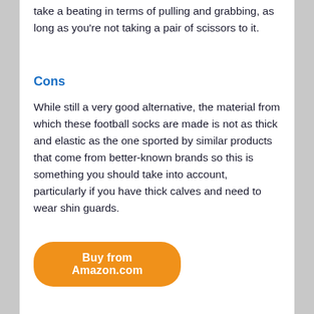take a beating in terms of pulling and grabbing, as long as you're not taking a pair of scissors to it.
Cons
While still a very good alternative, the material from which these football socks are made is not as thick and elastic as the one sported by similar products that come from better-known brands so this is something you should take into account, particularly if you have thick calves and need to wear shin guards.
Buy from Amazon.com